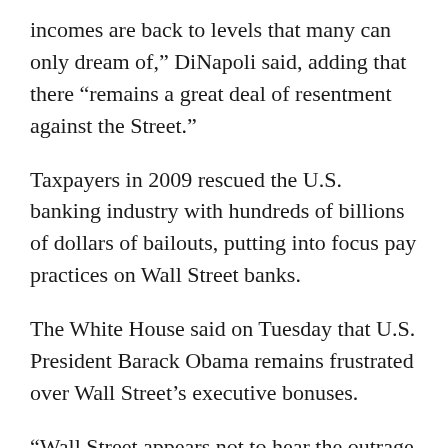incomes are back to levels that many can only dream of,” DiNapoli said, adding that there “remains a great deal of resentment against the Street.”
Taxpayers in 2009 rescued the U.S. banking industry with hundreds of billions of dollars of bailouts, putting into focus pay practices on Wall Street banks.
The White House said on Tuesday that U.S. President Barack Obama remains frustrated over Wall Street’s executive bonuses.
“Wall Street appears not to hear the outrage and the frustration each day on the pay practices that we’ve seen so far,” White House spokesman Robert Gibbs told reporters.